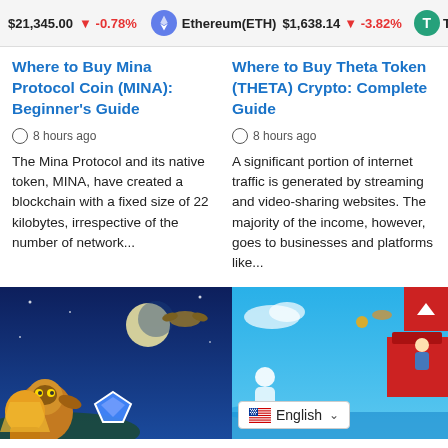$21,345.00 ↓ -0.78% Ethereum(ETH) $1,638.14 ↓ -3.82% T...
Where to Buy Mina Protocol Coin (MINA): Beginner's Guide
8 hours ago
The Mina Protocol and its native token, MINA, have created a blockchain with a fixed size of 22 kilobytes, irrespective of the number of network...
Where to Buy Theta Token (THETA) Crypto: Complete Guide
8 hours ago
A significant portion of internet traffic is generated by streaming and video-sharing websites. The majority of the income, however, goes to businesses and platforms like...
[Figure (illustration): Game artwork showing fantasy flying creatures and a moon on a dark blue background]
[Figure (screenshot): Game screenshot with blue sky background, a character with a red structure, and an English language selector dropdown]